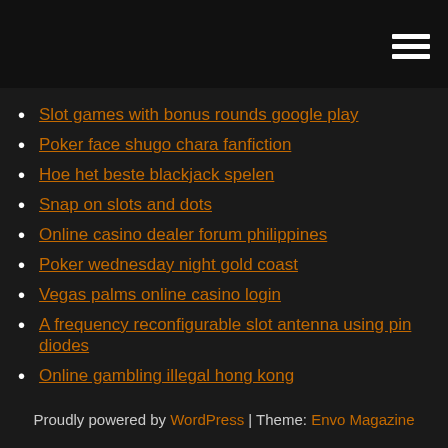Slot games with bonus rounds google play
Poker face shugo chara fanfiction
Hoe het beste blackjack spelen
Snap on slots and dots
Online casino dealer forum philippines
Poker wednesday night gold coast
Vegas palms online casino login
A frequency reconfigurable slot antenna using pin diodes
Online gambling illegal hong kong
Free online slot machines deal or no deal
Proudly powered by WordPress | Theme: Envo Magazine